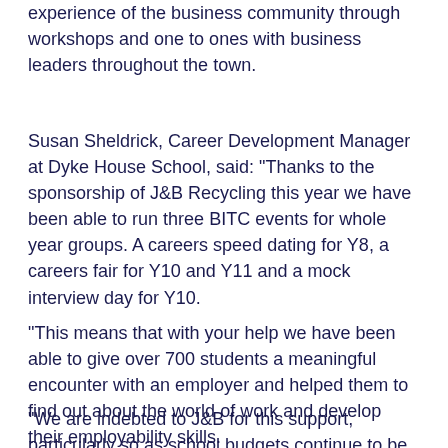experience of the business community through workshops and one to ones with business leaders throughout the town.
Susan Sheldrick, Career Development Manager at Dyke House School, said: "Thanks to the sponsorship of J&B Recycling this year we have been able to run three BITC events for whole year groups. A careers speed dating for Y8, a careers fair for Y10 and Y11 and a mock interview day for Y10.
"This means that with your help we have been able to give over 700 students a meaningful encounter with an employer and helped them to find out about the world of work and develop their employability skills.
"We are indebted to J&B for this support, particularly so as school budgets continue to be cut, making it even more difficult for schools to fund this vital part of